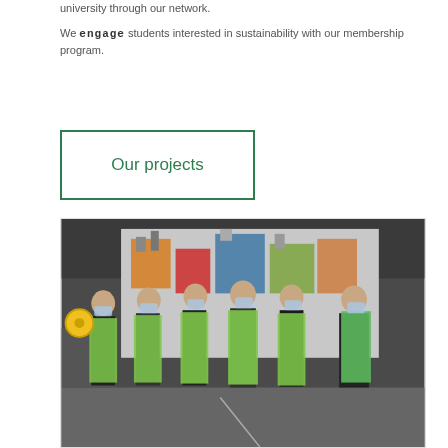university through our network.

We engage students interested in sustainability with our membership program.
Our projects
[Figure (photo): Group of six people wearing green aprons and face masks standing in front of a colorful mural inside a warehouse or covered market space]